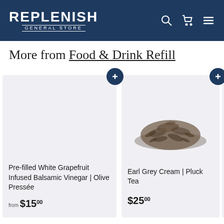REPLENISH GENERAL STORE
More from Food & Drink Refill
Pre-filled White Grapefruit Infused Balsamic Vinegar | Olive Pressée
from $15.00
[Figure (photo): Pile of loose leaf tea (Earl Grey Cream)]
Earl Grey Cream | Pluck Tea
$25.00
Georg... Tea
$23.00